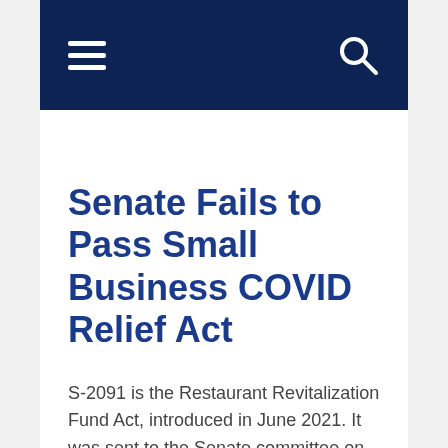[Navigation bar with hamburger menu and search icon]
Senate Fails to Pass Small Business COVID Relief Act
S-2091 is the Restaurant Revitalization Fund Act, introduced in June 2021. It was sent to the Senate committee on Small Business and Entrepreneurship. S2091 became the